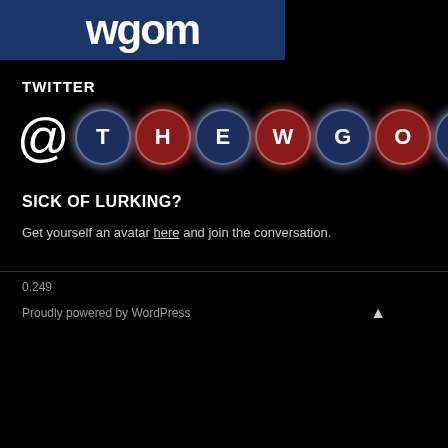[Figure (logo): WGOM logo banner - dark blue background with white lowercase text 'wgom']
TWITTER
[Figure (illustration): Twitter handle @THEWGOM displayed as circular letter badges alternating dark blue and red colors with glowing borders]
SICK OF LURKING?
Get yourself an avatar here and join the conversation.
0.249
Proudly powered by WordPress